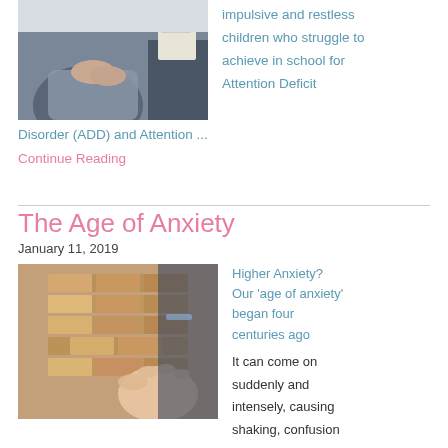[Figure (photo): Photo of two people sitting, hands visible, one holding a clipboard]
impulsive and restless children who struggle to achieve in school for Attention Deficit Disorder (ADD) and Attention ...
Continue Reading
The Age of Anxiety
January 11, 2019
[Figure (photo): Photo of wooden blocks being stacked like a Jenga tower, hand reaching in]
Higher Anxiety? Our 'age of anxiety' began four centuries ago
It can come on suddenly and intensely, causing shaking, confusion